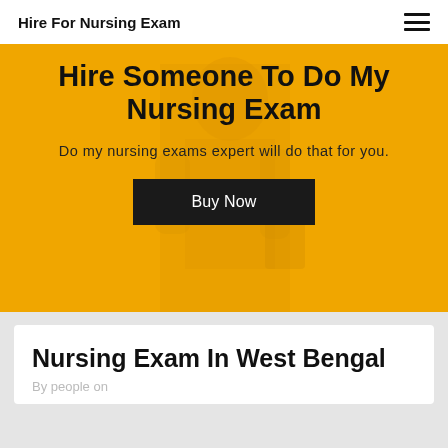Hire For Nursing Exam
Hire Someone To Do My Nursing Exam
Do my nursing exams expert will do that for you.
Buy Now
Nursing Exam In West Bengal
By people on